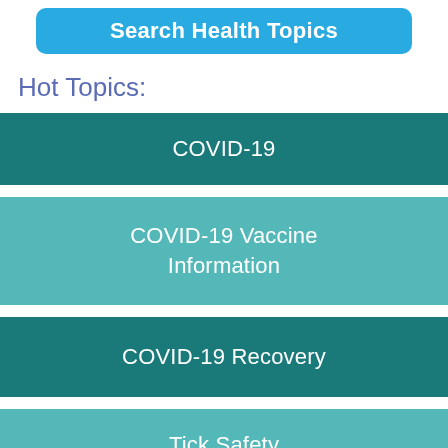[Figure (screenshot): Search Health Topics button - blue rounded rectangle]
Hot Topics:
COVID-19
COVID-19 Vaccine Information
COVID-19 Recovery
Tick Safety